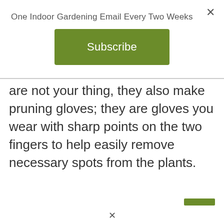×
One Indoor Gardening Email Every Two Weeks
Subscribe
are not your thing, they also make pruning gloves; they are gloves you wear with sharp points on the two fingers to help easily remove necessary spots from the plants.